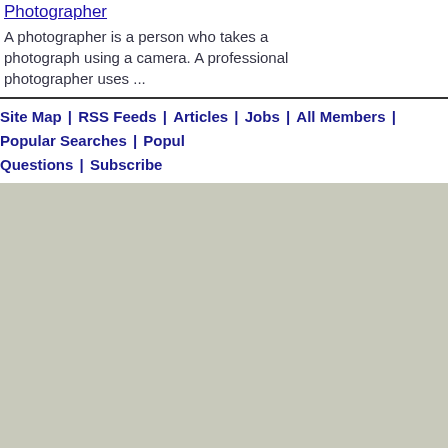Photographer
A photographer is a person who takes a photograph using a camera. A professional photographer uses ...
Site Map | RSS Feeds | Articles | Jobs | All Members | Popular Searches | Popular Questions | Subscribe